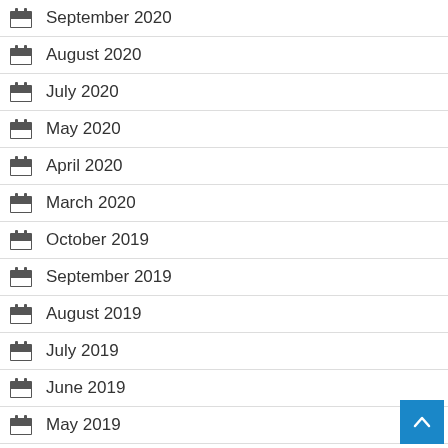September 2020
August 2020
July 2020
May 2020
April 2020
March 2020
October 2019
September 2019
August 2019
July 2019
June 2019
May 2019
April 2019